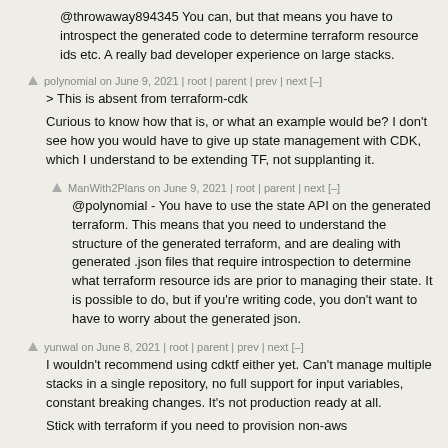@throwaway894345 You can, but that means you have to introspect the generated code to determine terraform resource ids etc. A really bad developer experience on large stacks.
polynomial on June 9, 2021 | root | parent | prev | next [–]
> This is absent from terraform-cdk
Curious to know how that is, or what an example would be? I don't see how you would have to give up state management with CDK, which I understand to be extending TF, not supplanting it.
ManWith2Plans on June 9, 2021 | root | parent | next [–]
@polynomial - You have to use the state API on the generated terraform. This means that you need to understand the structure of the generated terraform, and are dealing with generated .json files that require introspection to determine what terraform resource ids are prior to managing their state. It is possible to do, but if you're writing code, you don't want to have to worry about the generated json.
yunwal on June 8, 2021 | root | parent | prev | next [–]
I wouldn't recommend using cdktf either yet. Can't manage multiple stacks in a single repository, no full support for input variables, constant breaking changes. It's not production ready at all.
Stick with terraform if you need to provision non-aws